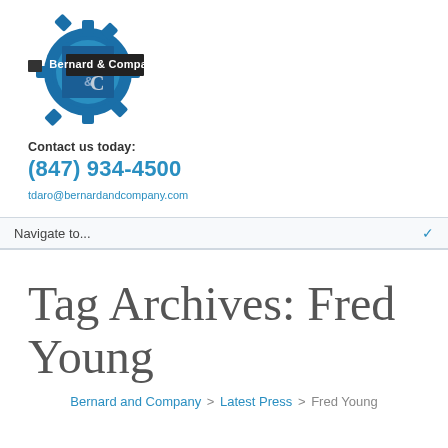[Figure (logo): Bernard & Company logo with blue gear and B&C monogram, accompanied by 'Bernard & Company' text on dark banner]
Contact us today:
(847) 934-4500
tdaro@bernardandcompany.com
Navigate to...
Tag Archives: Fred Young
Bernard and Company > Latest Press > Fred Young